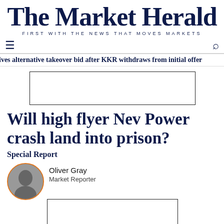The Market Herald
FIRST WITH THE NEWS THAT MOVES MARKETS
ives alternative takeover bid after KKR withdraws from initial offer
[Figure (other): Advertisement placeholder box]
Will high flyer Nev Power crash land into prison?
Special Report
Oliver Gray
Market Reporter